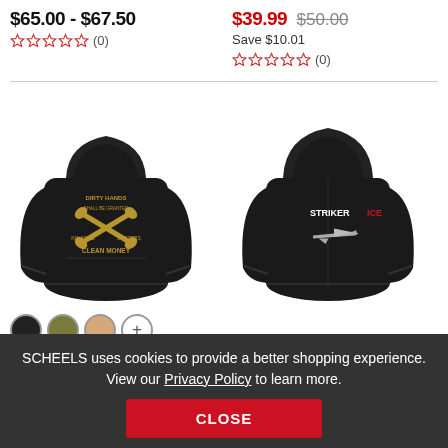$65.00 - $67.50
☆☆☆☆☆ (0)
$39.99 $50.00 Save $10.01
☆☆☆☆☆ (0)
[Figure (photo): Black hoodie with 'DIRTY HANDS / CLEAN MONEY' graphic on back, shown from rear. Three color swatches (black, olive, tan) and a plus button below.]
[Figure (photo): Black hoodie with 'STRIKERICE' and airplane graphic on front, shown from front.]
SCHEELS uses cookies to provide a better shopping experience. View our Privacy Policy to learn more.
CLOSE